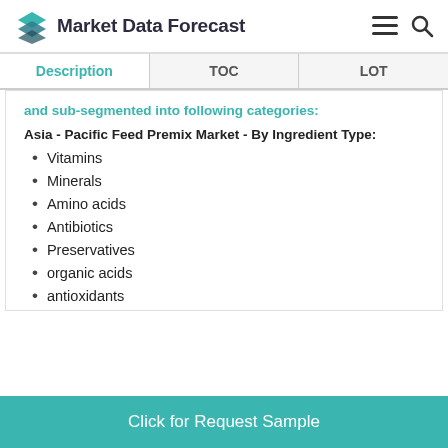Market Data Forecast
| Description | TOC | LOT |
| --- | --- | --- |
and sub-segmented into following categories:
Asia - Pacific Feed Premix Market - By Ingredient Type:
Vitamins
Minerals
Amino acids
Antibiotics
Preservatives
organic acids
antioxidants
Click for Request Sample